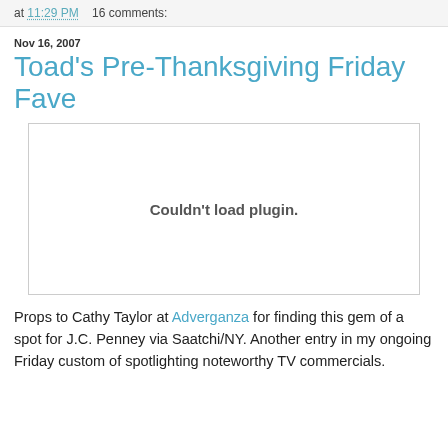at 11:29 PM    16 comments:
Nov 16, 2007
Toad's Pre-Thanksgiving Friday Fave
[Figure (other): Embedded video plugin placeholder showing 'Couldn't load plugin.' message]
Props to Cathy Taylor at Adverganza for finding this gem of a spot for J.C. Penney via Saatchi/NY. Another entry in my ongoing Friday custom of spotlighting noteworthy TV commercials.